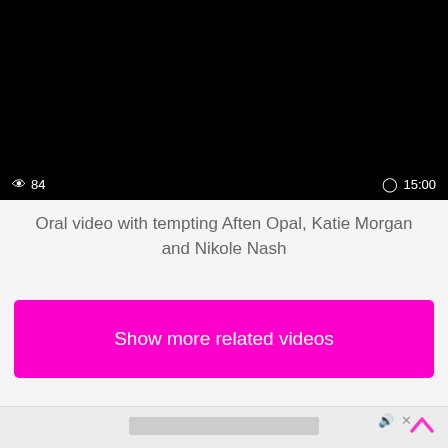[Figure (screenshot): Black video player with view count 84 and duration 15:00]
Oral video with tempting Aften Opal, Katie Morgan and Nikole Nash
Show more related videos
[Figure (screenshot): Bottom ad / thumbnail strip with close button]